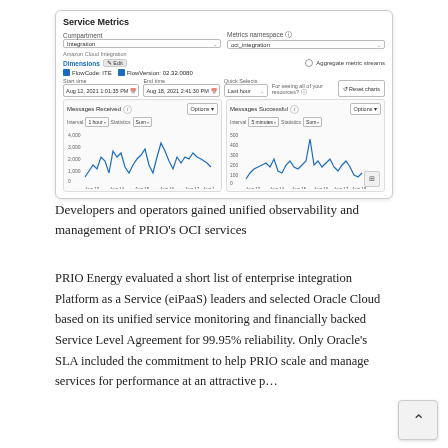[Figure (screenshot): Oracle Cloud Service Metrics dashboard screenshot showing Compartment: Integration, Metrics namespace: oci_integration, Dimensions with FlowCode: ITE and FlowVersion: 02.32.0080, date range Aug 12 2021 1:01:35 PM to Aug 18 2021 2:41:30 PM, Last hour quick select, Reset charts button, two line charts: Messages Received and Messages Successful with time series data from Aug 13 to Aug 18.]
Developers and operators gained unified observability and management of PRIO’s OCI services
PRIO Energy evaluated a short list of enterprise integration Platform as a Service (eiPaaS) leaders and selected Oracle Cloud based on its unified service monitoring and financially backed Service Level Agreement for 99.95% reliability. Only Oracle’s SLA included the commitment to help PRIO scale and manage services for performance at an attractive p…